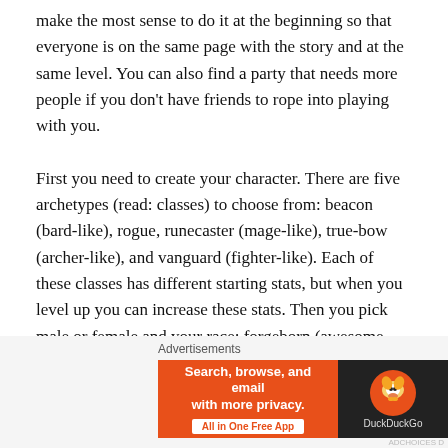make the most sense to do it at the beginning so that everyone is on the same page with the story and at the same level. You can also find a party that needs more people if you don't have friends to rope into playing with you.
First you need to create your character. There are five archetypes (read: classes) to choose from: beacon (bard-like), rogue, runecaster (mage-like), true-bow (archer-like), and vanguard (fighter-like). Each of these classes has different starting stats, but when you level up you can increase these stats. Then you pick male or female and your race: forgeborn (awesome humanoid with fire running through them), lumyn (elven), mezoar (lizard person), nix
Advertisements
[Figure (other): DuckDuckGo advertisement banner: orange background with text 'Search, browse, and email with more privacy. All in One Free App' and DuckDuckGo logo on dark background.]